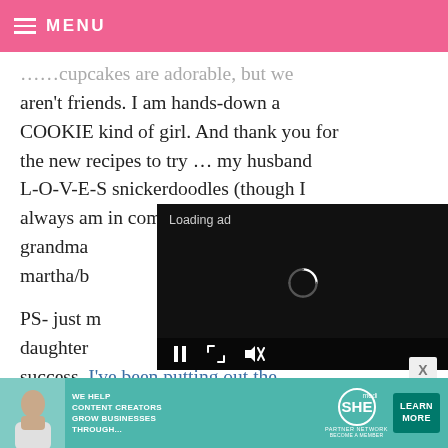MENU
...cupcakes are adorable, but we aren't friends. I am hands-down a COOKIE kind of girl. And thank you for the new recipes to try … my husband L-O-V-E-S snickerdoodles (though I always am in competition with his grandma/b... martha/b...
PS- just m... daughter... success. I've been putting out the address ever since! :)
[Figure (screenshot): Video ad overlay with 'Loading ad' text, spinner, and playback controls (pause, fullscreen, mute) on black background]
[Figure (screenshot): SHE Partner Network advertisement banner: 'We help content creators grow businesses through...' with Learn More button]